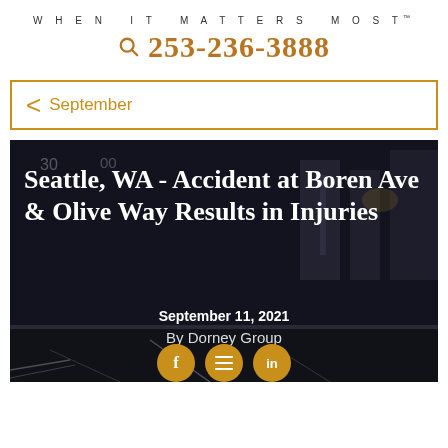WHEN IT MATTERS MOST™
253-236-3888
September
[Figure (photo): Night street scene in Seattle serving as hero background image with white text overlay]
Seattle, WA - Accident at Boren Ave & Olive Way Results in Injuries
September 11, 2021
By Dore Group
[Figure (illustration): Social media icons: Facebook, menu/hamburger, and LinkedIn in orange circles]